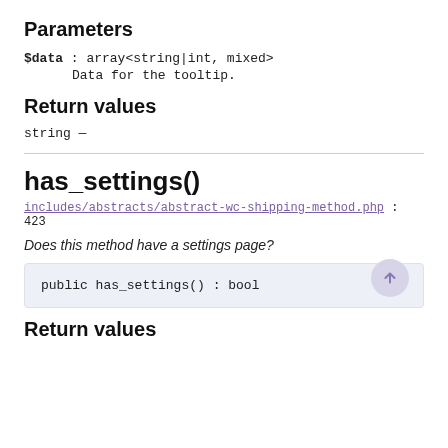Parameters
$data : array<string|int, mixed>
Data for the tooltip.
Return values
string —
has_settings()
includes/abstracts/abstract-wc-shipping-method.php : 423
Does this method have a settings page?
public has_settings() : bool
Return values